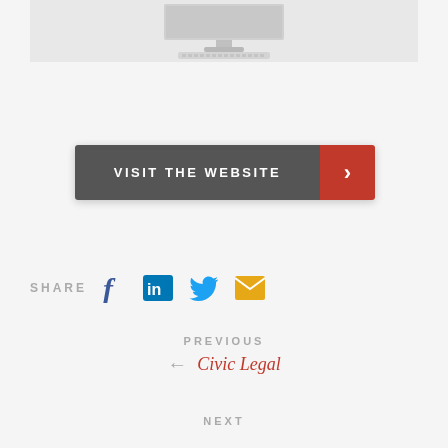[Figure (photo): Partial view of a white iMac computer with keyboard on white background]
VISIT THE WEBSITE
SHARE
[Figure (infographic): Social share icons: Facebook, LinkedIn, Twitter, Email]
PREVIOUS
← Civic Legal
NEXT